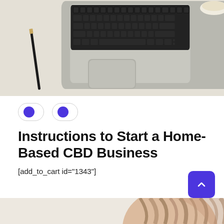[Figure (photo): Top-down view of a laptop keyboard on a light beige desk with a pen/pencil to the left and a cup partially visible at the top right.]
[Figure (other): Two pill-shaped toggle UI elements with blue dots, representing on/off switches.]
Instructions to Start a Home-Based CBD Business
[add_to_cart id="1343"]
[Figure (photo): Bottom portion of a person with long brown hair, partial view at the bottom of the page.]